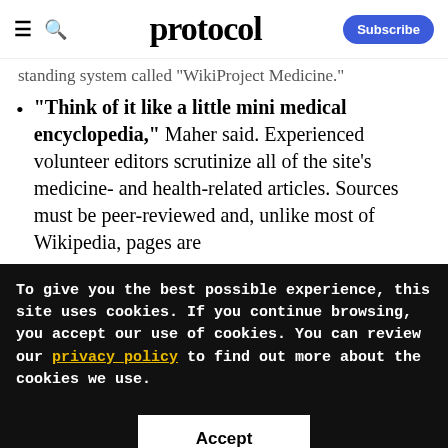protocol — Subscribe
standing system called WikiProject Medicine.
"Think of it like a little mini medical encyclopedia," Maher said. Experienced volunteer editors scrutinize all of the site's medicine- and health-related articles. Sources must be peer-reviewed and, unlike most of Wikipedia, pages are
To give you the best possible experience, this site uses cookies. If you continue browsing, you accept our use of cookies. You can review our privacy policy to find out more about the cookies we use.
Accept